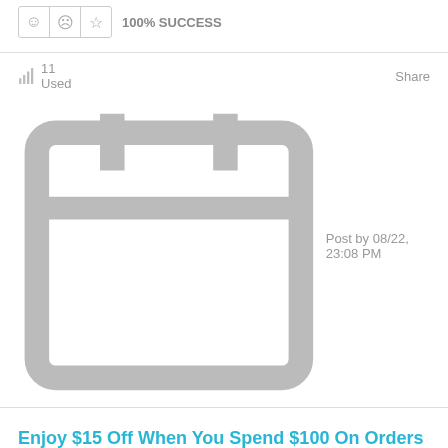[Figure (other): Rating icons row with smiley, neutral, star icons and 100% SUCCESS text]
11 Used   Share   Post by 08/22, 23:08 PM
Enjoy $15 Off When You Spend $100 On Orders
[Figure (other): GET CODE button in orange with coupon code MNS in hatched area]
[Figure (other): Rating icons row with smiley, neutral, star icons and 100% SUCCESS text]
12 Used   Share   Post by 08/22, 23:08 PM
Shop 20% Off Halloween with Code SPOOKY20